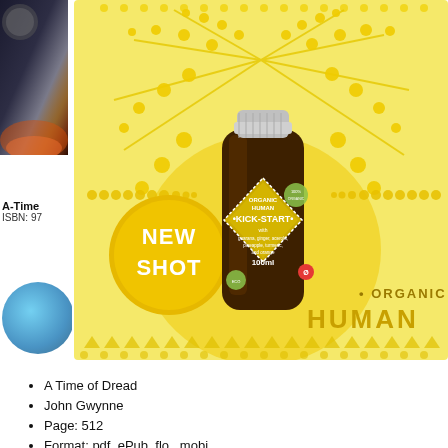[Figure (photo): Organic Human Kick-Start shot bottle (100ml) in a yellow decorative product advertisement, with 'NEW SHOT' badge and decorative sun/dot motifs. Text on bottle label: 'KICK-START with guarana, ginger, acerola, pineapple, turmeric, and orange 100ml'. Bottom right text: 'ORGANIC HUMAN']
A-Time
ISBN: 97
A Time of Dread
John Gwynne
Page: 512
Format: pdf, ePub, flo...mobi